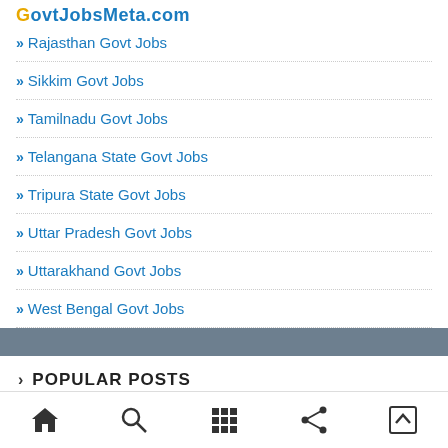GovtJobsMeta.com
Rajasthan Govt Jobs
Sikkim Govt Jobs
Tamilnadu Govt Jobs
Telangana State Govt Jobs
Tripura State Govt Jobs
Uttar Pradesh Govt Jobs
Uttarakhand Govt Jobs
West Bengal Govt Jobs
POPULAR POSTS
Navigation bar: home, search, grid, share, top